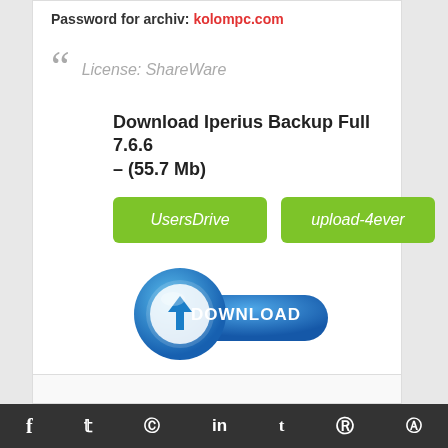Password for archiv: kolompc.com
License: ShareWare
Download Iperius Backup Full 7.6.6 – (55.7 Mb)
UsersDrive
upload-4ever
[Figure (illustration): Blue download button graphic with downward arrow and DOWNLOAD text]
f  t  pinterest  in  t  reddit  skype (social media icons)